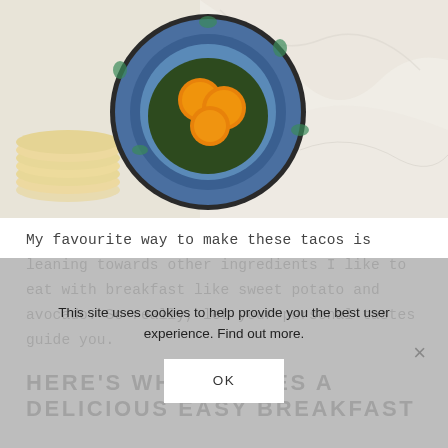[Figure (photo): Overhead flatlay photo showing a blue floral-patterned bowl with three orange egg yolks, a stack of corn tortillas on the left, all on a white marble surface.]
My favourite way to make these tacos is leaning towards other ingredients I like to eat with breakfast like sweet potato and avocado. So really, let your personal tastes guide you.
HERE'S WHAT MAKES A DELICIOUS EASY BREAKFAST
This site uses cookies to help provide you the best user experience. Find out more.